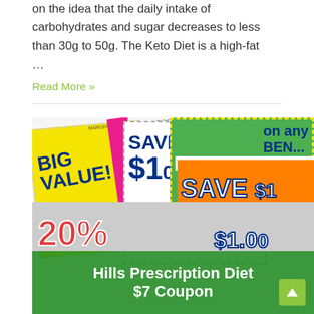on the idea that the daily intake of carbohydrates and sugar decreases to less than 30g to 50g. The Keto Diet is a high-fat …
Read More »
[Figure (photo): Collage of colorful manufacturer coupons including Big Value, Save $10, Manufacturer's Coupon overlaid with a green banner reading 'Hills Prescription Diet $7 Coupon']